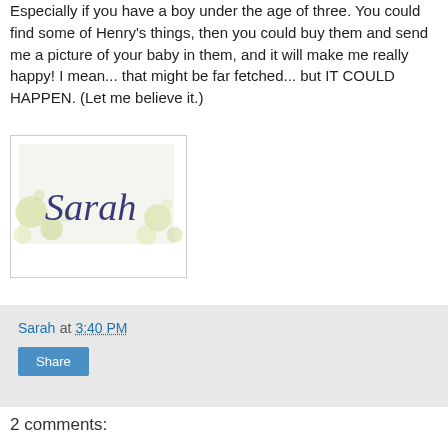Especially if you have a boy under the age of three. You could find some of Henry's things, then you could buy them and send me a picture of your baby in them, and it will make me really happy!  I mean... that might be far fetched... but IT COULD HAPPEN.  (Let me believe it.)
[Figure (illustration): A signature graphic showing the name 'Sarah' in cursive script over a pale background with decorative circular bubble shapes]
Sarah at 3:40 PM
Share
2 comments: